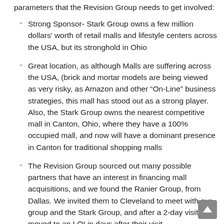parameters that the Revision Group needs to get involved:
Strong Sponsor- Stark Group owns a few million dollars' worth of retail malls and lifestyle centers across the USA, but its stronghold in Ohio
Great location, as although Malls are suffering across the USA, (brick and mortar models are being viewed as very risky, as Amazon and other “On-Line” business strategies, this mall has stood out as a strong player. Also, the Stark Group owns the nearest competitive mall in Canton, Ohio, where they have a 100% occupied mall, and now will have a dominant presence in Canton for traditional shopping malls
The Revision Group sourced out many possible partners that have an interest in financing mall acquisitions, and we found the Ranier Group, from Dallas. We invited them to Cleveland to meet with our group and the Stark Group, and after a 2-day visit, we moved to an LOI in days after their visit.